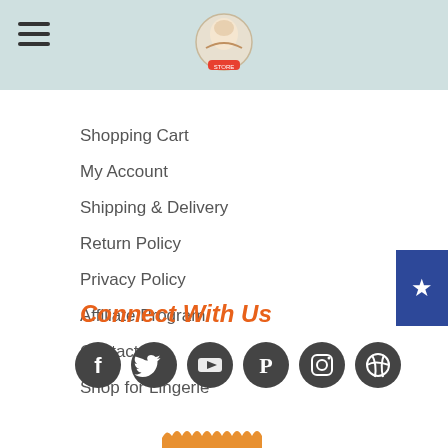Navigation header with logo and hamburger menu
Shopping Cart
My Account
Shipping & Delivery
Return Policy
Privacy Policy
Affiliate Program
Contact Us
Shop for Lingerie
Connect With Us
[Figure (illustration): Six social media icons: Facebook, Twitter, YouTube, Pinterest, Instagram, Dribbble]
[Figure (illustration): Orange badge/seal at bottom of page, partially visible]